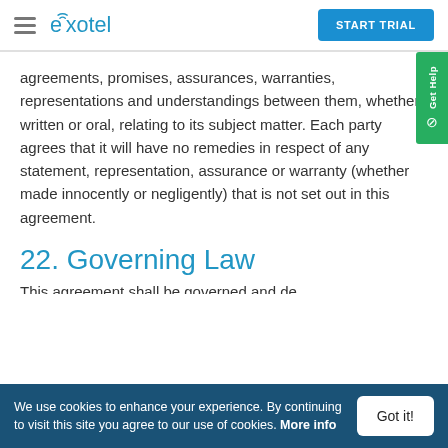Exotel — START TRIAL
agreements, promises, assurances, warranties, representations and understandings between them, whether written or oral, relating to its subject matter. Each party agrees that it will have no remedies in respect of any statement, representation, assurance or warranty (whether made innocently or negligently) that is not set out in this agreement.
22. Governing Law
(partial line visible)
We use cookies to enhance your experience. By continuing to visit this site you agree to our use of cookies. More info